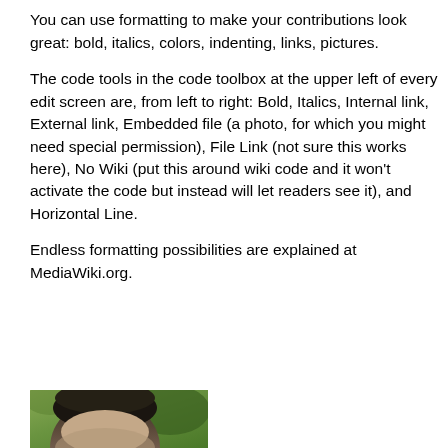invites more reader feedback where quality is encouraged by (1) the prohibition of ad hominem attacks, (2) the possibility of very specific feedback by posting it next to the subject matter referred to, and (3) the interaction with other readers, with the option of keeping contributions distinct or of merging comments to eliminate redundancy, or both.
Formatting
You can use formatting to make your contributions look great: bold, italics, colors, indenting, links, pictures.
The code tools in the code toolbox at the upper left of every edit screen are, from left to right: Bold, Italics, Internal link, External link, Embedded file (a photo, for which you might need special permission), File Link (not sure this works here), No Wiki (put this around wiki code and it won't activate the code but instead will let readers see it), and Horizontal Line.
Endless formatting possibilities are explained at MediaWiki.org.
[Figure (photo): Partial photo of a person's head/face, cropped at bottom of page, with green foliage in background.]